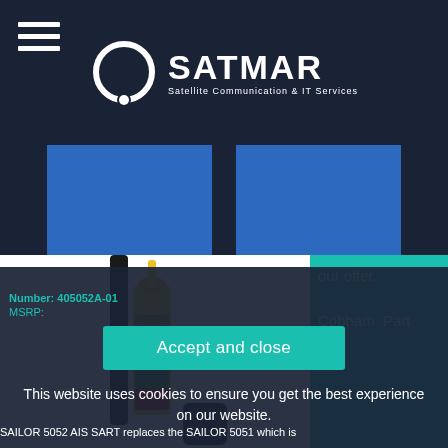[Figure (logo): SATMAR logo with circle icon and text 'Satellite Communication & IT Services']
[Figure (photo): Two blue rectangular placeholder boxes side by side]
[Figure (photo): Product photo of yellow SART marine distress beacon with black tube antenna and small black case on white background]
our offer.
Cobham Part
Accept and close
Number: 405052A-01
MSRP:
This website uses cookies to ensure you get the best experience on our website.
SAILOR 5052 AIS SART replaces the SAILOR 5051 which is